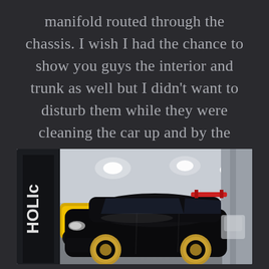manifold routed through the chassis. I wish I had the chance to show you guys the interior and trunk as well but I didn't want to disturb them while they were cleaning the car up and by the time I went back, there were plenty of people around it studying it already…
[Figure (photo): A black lowered Lexus GS with gold/bronze multi-spoke aftermarket wheels on display inside a car show venue. A yellow sports car is visible in the background on the left. Banner with partial text 'HOLI' or similar on the far left. Indoor venue with overhead industrial lights.]